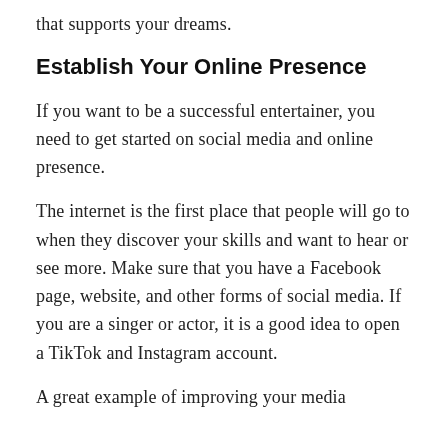that supports your dreams.
Establish Your Online Presence
If you want to be a successful entertainer, you need to get started on social media and online presence.
The internet is the first place that people will go to when they discover your skills and want to hear or see more. Make sure that you have a Facebook page, website, and other forms of social media. If you are a singer or actor, it is a good idea to open a TikTok and Instagram account.
A great example of improving your media